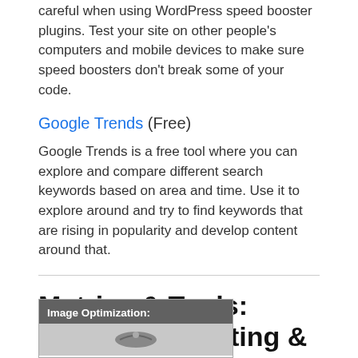careful when using WordPress speed booster plugins. Test your site on other people's computers and mobile devices to make sure speed boosters don't break some of your code.
Google Trends (Free)
Google Trends is a free tool where you can explore and compare different search keywords based on area and time. Use it to explore around and try to find keywords that are rising in popularity and develop content around that.
Metrics & Tools: measuring, testing & refining your results
[Figure (screenshot): Image Optimization section header with a graphic below it, partially visible at the bottom of the page.]